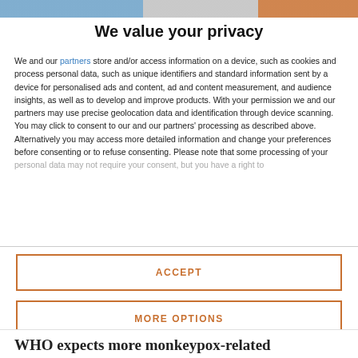We value your privacy
We and our partners store and/or access information on a device, such as cookies and process personal data, such as unique identifiers and standard information sent by a device for personalised ads and content, ad and content measurement, and audience insights, as well as to develop and improve products. With your permission we and our partners may use precise geolocation data and identification through device scanning. You may click to consent to our and our partners' processing as described above. Alternatively you may access more detailed information and change your preferences before consenting or to refuse consenting. Please note that some processing of your personal data may not require your consent, but you have a right to
ACCEPT
MORE OPTIONS
WHO expects more monkeypox-related